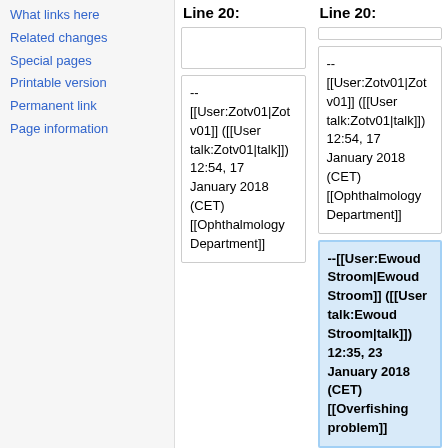What links here
Related changes
Special pages
Printable version
Permanent link
Page information
Line 20:
Line 20:
--
[[User:Zotv01|Zotv01]] ([[User talk:Zotv01|talk]]) 12:54, 17 January 2018 (CET) [[Ophthalmology Department]]
--
[[User:Zotv01|Zotv01]] ([[User talk:Zotv01|talk]]) 12:54, 17 January 2018 (CET) [[Ophthalmology Department]]
--[[User:Ewoud Stroom|Ewoud Stroom]] ([[User talk:Ewoud Stroom|talk]]) 12:35, 23 January 2018 (CET) [[Overfishing problem]]